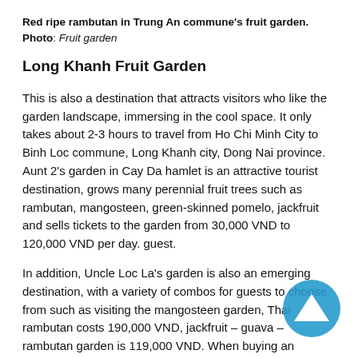Red ripe rambutan in Trung An commune's fruit garden. Photo: Fruit garden
Long Khanh Fruit Garden
This is also a destination that attracts visitors who like the garden landscape, immersing in the cool space. It only takes about 2-3 hours to travel from Ho Chi Minh City to Binh Loc commune, Long Khanh city, Dong Nai province. Aunt 2's garden in Cay Da hamlet is an attractive tourist destination, grows many perennial fruit trees such as rambutan, mangosteen, green-skinned pomelo, jackfruit and sells tickets to the garden from 30,000 VND to 120,000 VND per day. guest.
In addition, Uncle Loc La's garden is also an emerging destination, with a variety of combos for guests to choose from such as visiting the mangosteen garden, Thai rambutan costs 190,000 VND, jackfruit – guava – rambutan garden is 119,000 VND. When buying an entrance ticket, the gardener's...